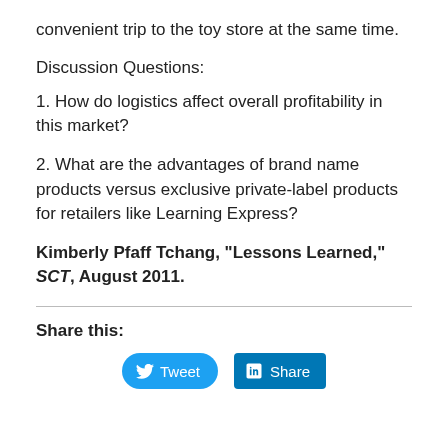convenient trip to the toy store at the same time.
Discussion Questions:
1. How do logistics affect overall profitability in this market?
2. What are the advantages of brand name products versus exclusive private-label products for retailers like Learning Express?
Kimberly Pfaff Tchang, “Lessons Learned,” SCT, August 2011.
Share this: